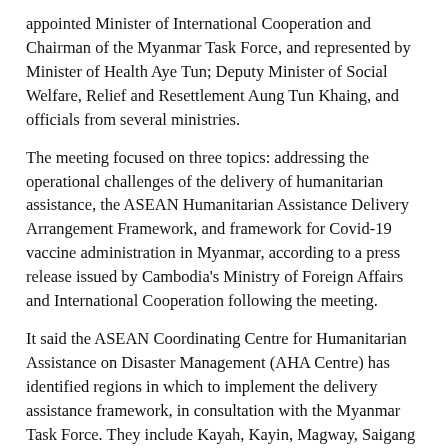appointed Minister of International Cooperation and Chairman of the Myanmar Task Force, and represented by Minister of Health Aye Tun; Deputy Minister of Social Welfare, Relief and Resettlement Aung Tun Khaing, and officials from several ministries.
The meeting focused on three topics: addressing the operational challenges of the delivery of humanitarian assistance, the ASEAN Humanitarian Assistance Delivery Arrangement Framework, and framework for Covid-19 vaccine administration in Myanmar, according to a press release issued by Cambodia's Ministry of Foreign Affairs and International Cooperation following the meeting.
It said the ASEAN Coordinating Centre for Humanitarian Assistance on Disaster Management (AHA Centre) has identified regions in which to implement the delivery assistance framework, in consultation with the Myanmar Task Force. They include Kayah, Kayin, Magway, Saigang and Bago.
“The AHA Centre will facilitate requests for access [to humanitarian aid] through this delivery arrangement, and will propose a list of potential implementing partners,” the statement said.